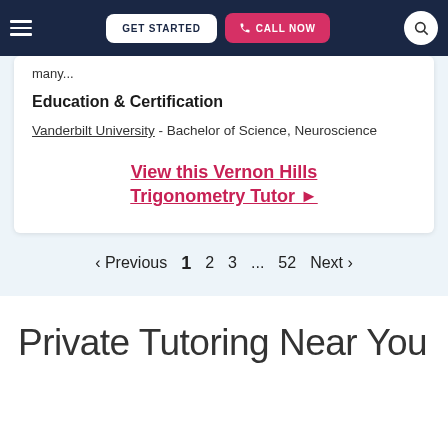GET STARTED | CALL NOW
many...
Education & Certification
Vanderbilt University - Bachelor of Science, Neuroscience
View this Vernon Hills Trigonometry Tutor ▶
< Previous 1 2 3 ... 52 Next >
Private Tutoring Near You